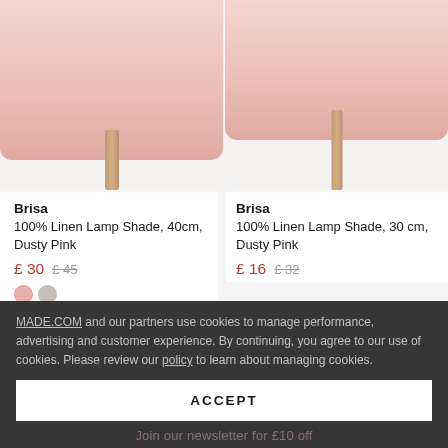[Figure (photo): Two pink lamp shades with wooden poles on light background - left lamp shade larger (40cm), right lamp shade smaller (30cm)]
Brisa
100% Linen Lamp Shade, 40cm, Dusty Pink
£ 30  £ 45
Brisa
100% Linen Lamp Shade, 30 cm, Dusty Pink
£ 16  £ 32
MADE.COM and our partners use cookies to manage performance, advertising and customer experience. By continuing, you agree to our use of cookies. Please review our policy to learn about managing cookies.
ACCEPT
Join our newsletter for £10 off